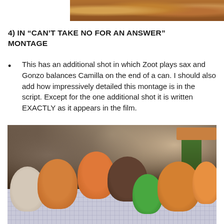[Figure (photo): Partial top view of Muppet characters, cropped, showing furry/fuzzy textures in warm brown and orange tones]
4) IN “CAN’T TAKE NO FOR AN ANSWER” MONTAGE
This has an additional shot in which Zoot plays sax and Gonzo balances Camilla on the end of a can. I should also add how impressively detailed this montage is in the script. Except for the one additional shot it is written EXACTLY as it appears in the film.
[Figure (photo): Scene from a Muppet film showing multiple Muppet characters seated around a table with a checkered tablecloth in what appears to be a restaurant setting. Characters include Kermit the Frog (green), Fozzie Bear (orange/brown), and other Muppets.]